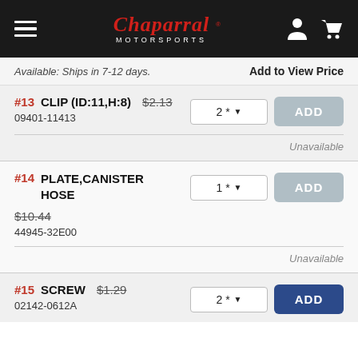Chaparral Motorsports
Available: Ships in 7-12 days.   Add to View Price
#13 CLIP (ID:11,H:8) $2.13 09401-11413 qty:2 ADD
Unavailable
#14 PLATE,CANISTER HOSE $10.44 44945-32E00 qty:1 ADD
Unavailable
#15 SCREW $1.29 02142-0612A qty:2 ADD